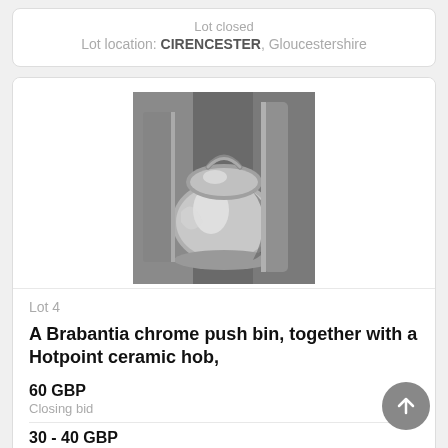Lot closed
Lot location: CIRENCESTER, Gloucestershire
[Figure (photo): A chrome Brabantia push bin photographed alongside other chrome/metallic kitchen items in a store or auction setting]
Lot 4
A Brabantia chrome push bin, together with a Hotpoint ceramic hob,
60 GBP
Closing bid
30 - 40 GBP
Estimate